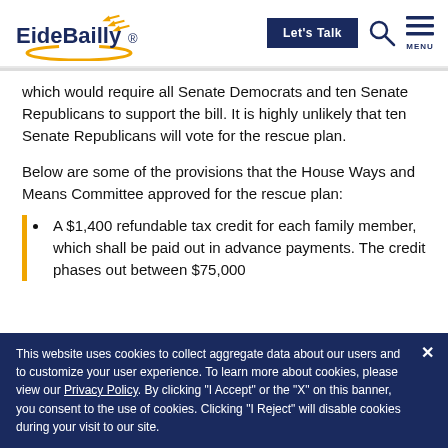[Figure (logo): EideBailly logo with golden arrow swoosh and yellow arc underneath]
which would require all Senate Democrats and ten Senate Republicans to support the bill. It is highly unlikely that ten Senate Republicans will vote for the rescue plan.
Below are some of the provisions that the House Ways and Means Committee approved for the rescue plan:
A $1,400 refundable tax credit for each family member, which shall be paid out in advance payments. The credit phases out between $75,000
This website uses cookies to collect aggregate data about our users and to customize your user experience.  To learn more about cookies, please view our Privacy Policy.  By clicking “I Accept” or the “X” on this banner, you consent to the use of cookies.  Clicking “I Reject” will disable cookies during your visit to our site.